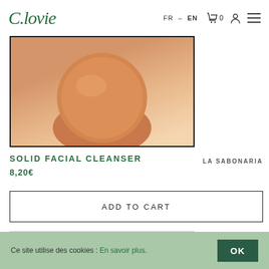C.lovie — FR - EN — 0 — [user icon] — [menu icon]
[Figure (photo): Top portion of a solid facial cleanser bar soap product with tan/golden-brown color, shown against white background with black border frame]
SOLID FACIAL CLEANSER
LA SABONARIA
8,20€
ADD TO CART
[Figure (photo): Bottom product image area with white background, partially visible]
NEW
Ce site utilise des cookies : En savoir plus. OK